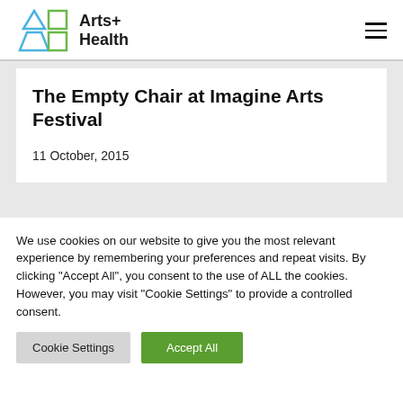Arts+ Health
The Empty Chair at Imagine Arts Festival
11 October, 2015
We use cookies on our website to give you the most relevant experience by remembering your preferences and repeat visits. By clicking “Accept All”, you consent to the use of ALL the cookies. However, you may visit "Cookie Settings" to provide a controlled consent.
Cookie Settings | Accept All